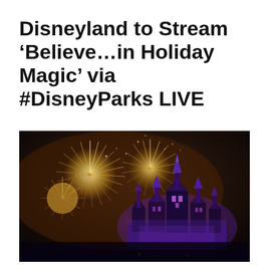Disneyland to Stream ‘Believe…in Holiday Magic’ via #DisneyParks LIVE
[Figure (photo): Nighttime photo of Disneyland castle illuminated in purple and pink lights with golden fireworks bursting in the dark sky above it.]